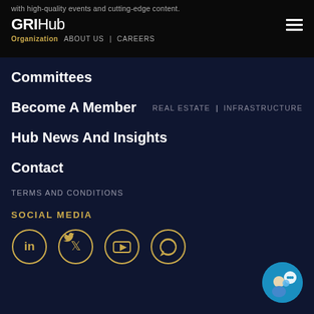with high-quality events and cutting-edge content.
[Figure (logo): GRIHub logo with hamburger menu and Organization / ABOUT US | CAREERS navigation]
Committees
Become A Member   REAL ESTATE | INFRASTRUCTURE
Hub News And Insights
Contact
TERMS AND CONDITIONS
SOCIAL MEDIA
[Figure (infographic): Social media icons: LinkedIn, Twitter, YouTube, WhatsApp in gold circle outlines]